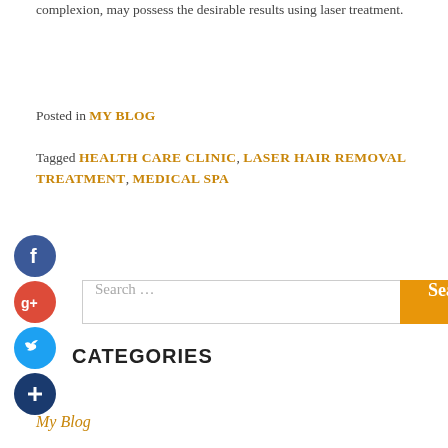complexion, may possess the desirable results using laser treatment.
Posted in MY BLOG
Tagged HEALTH CARE CLINIC, LASER HAIR REMOVAL TREATMENT, MEDICAL SPA
[Figure (other): Social share icons: Facebook (blue circle with f), Google+ (red circle with g+), Twitter (blue circle with bird), Add/Plus (dark blue circle with +)]
Search …
CATEGORIES
My Blog